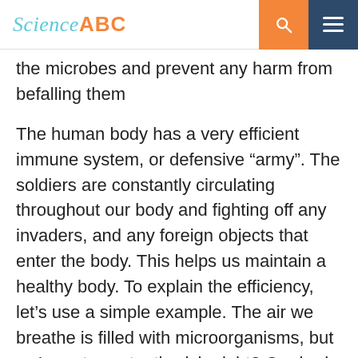Science ABC
the microbes and prevent any harm from befalling them
The human body has a very efficient immune system, or defensive “army”. The soldiers are constantly circulating throughout our body and fighting off any invaders, and any foreign objects that enter the body. This helps us maintain a healthy body. To explain the efficiency, let’s use a simple example. The air we breathe is filled with microorganisms, but we’re not constantly sick, right? Our body fights off the germs entering our body